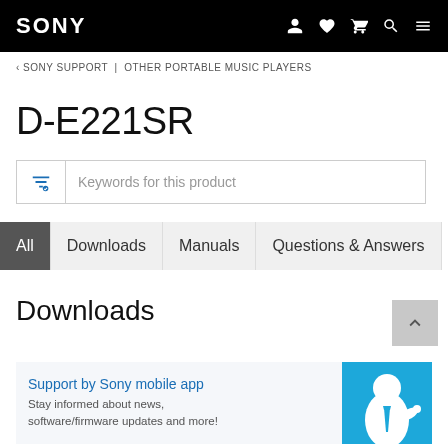SONY
‹ SONY SUPPORT | OTHER PORTABLE MUSIC PLAYERS
D-E221SR
Keywords for this product
All | Downloads | Manuals | Questions & Answers
Downloads
Support by Sony mobile app
Stay informed about news, software/firmware updates and more!